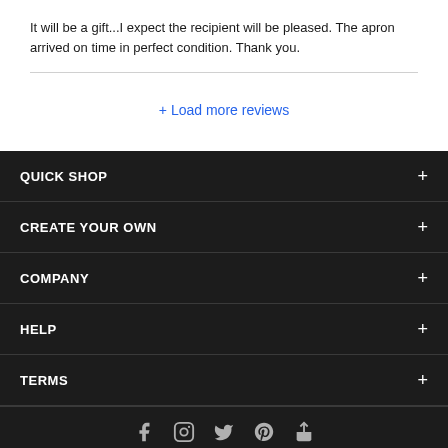It will be a gift...I expect the recipient will be pleased. The apron arrived on time in perfect condition. Thank you.
+ Load more reviews
QUICK SHOP +
CREATE YOUR OWN +
COMPANY +
HELP +
TERMS +
[Figure (other): Social media icons row: Facebook, Instagram, Twitter/X, Pinterest, and another icon]